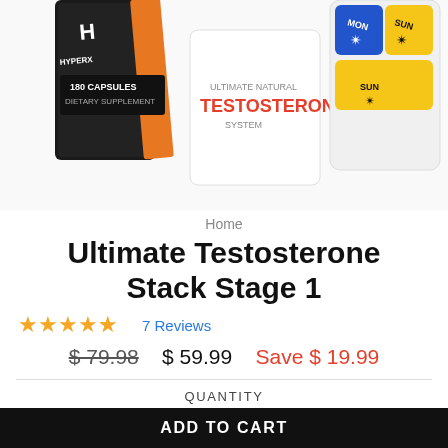[Figure (photo): Product photo showing supplement bottles and pill organizer for Ultimate Testosterone Stack]
Home
Ultimate Testosterone Stack Stage 1
★★★★½ 7 Reviews
$79.98  $59.99  Save $19.99
QUANTITY
- 1 +
ADD TO CART